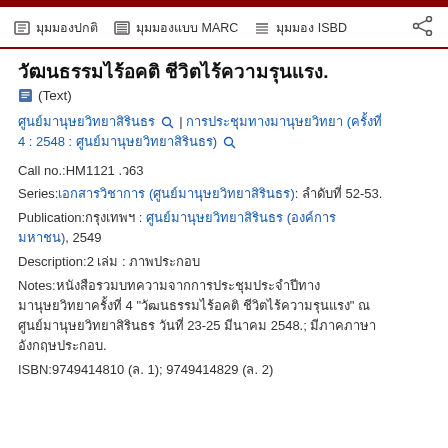มุมมองปกติ | มุมมองแบบ MARC | มุมมอง ISBD
วัฒนธรรมไร้อคติ ชีวิตไร้ความรุนแรง.
(Text)
ศูนย์มานุษยวิทยาสิรินธร | การประชุมทางมานุษยวิทยา (ครั้งที่ 4 : 2548 : ศูนย์มานุษยวิทยาสิรินธร)
Call no.:HM1121 .ว63
Series:เอกสารวิชาการ (ศูนย์มานุษยวิทยาสิรินธร): ลำดับที่ 52-53.
Publication:กรุงเทพฯ : ศูนย์มานุษยวิทยาสิรินธร (องค์การมหาชน), 2549
Description:2 เล่ม : ภาพประกอบ
Notes:หนังสือรวมบทความจากการประชุมประจำปีทางมานุษยวิทยาครั้งที่ 4 "วัฒนธรรมไร้อคติ ชีวิตไร้ความรุนแรง" ณ ศูนย์มานุษยวิทยาสิรินธร วันที่ 23-25 มีนาคม 2548.; มีภาคภาษาอังกฤษประกอบ.
ISBN:9749414810 (ล. 1); 9749414829 (ล. 2)